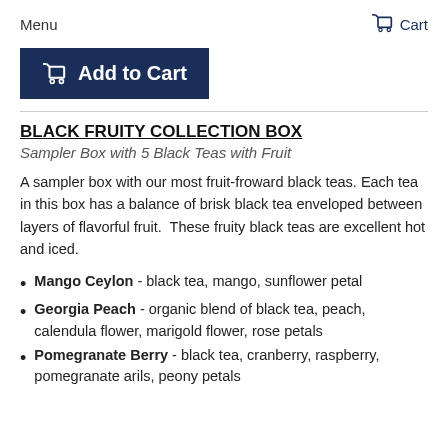Menu   Cart
Add to Cart
BLACK FRUITY COLLECTION BOX
Sampler Box with 5 Black Teas with Fruit
A sampler box with our most fruit-froward black teas. Each tea in this box has a balance of brisk black tea enveloped between layers of flavorful fruit.  These fruity black teas are excellent hot and iced.
Mango Ceylon - black tea, mango, sunflower petal
Georgia Peach - organic blend of black tea, peach, calendula flower, marigold flower, rose petals
Pomegranate Berry - black tea, cranberry, raspberry, pomegranate arils, peony petals